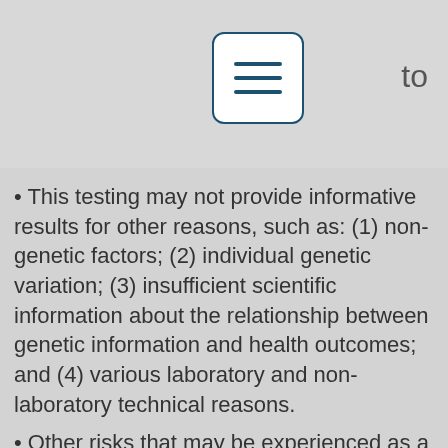[Figure (other): Menu/hamburger icon button with three horizontal lines in a rounded rectangle]
This testing may not provide informative results for other reasons, such as: (1) non-genetic factors; (2) individual genetic variation; (3) insufficient scientific information about the relationship between genetic information and health outcomes; and (4) various laboratory and non-laboratory technical reasons.
Other risks that may be experienced as a result of this testing include related emotional issues, impact on life-changing decisions, potential genetic discrimination (e.g., in employment and insurance areas) and loss of confidentiality. The testing result and information use